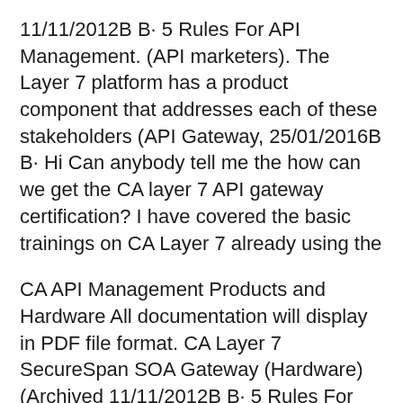11/11/2012B B· 5 Rules For API Management. (API marketers). The Layer 7 platform has a product component that addresses each of these stakeholders (API Gateway, 25/01/2016B B· Hi Can anybody tell me the how can we get the CA layer 7 API gateway certification? I have covered the basic trainings on CA Layer 7 already using the
CA API Management Products and Hardware All documentation will display in PDF file format. CA Layer 7 SecureSpan SOA Gateway (Hardware) (Archived 11/11/2012B B· 5 Rules For API Management. (API marketers). The Layer 7 platform has a product